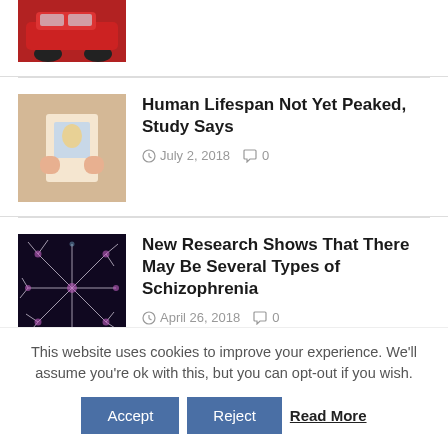[Figure (photo): Partial view of a red car at the top of the page]
[Figure (photo): Person holding a small photo of a baby/child in front of their face]
Human Lifespan Not Yet Peaked, Study Says
July 2, 2018   0
[Figure (photo): Colorful microscopy image of neurons or brain cells with white/purple branching patterns]
New Research Shows That There May Be Several Types of Schizophrenia
April 26, 2018   0
This website uses cookies to improve your experience. We'll assume you're ok with this, but you can opt-out if you wish.
Accept   Reject   Read More